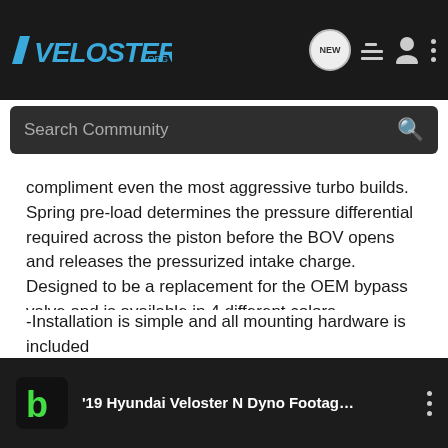VELOSTER.org — Search Community
compliment even the most aggressive turbo builds. Spring pre-load determines the pressure differential required across the piston before the BOV opens and releases the pressurized intake charge. Designed to be a replacement for the OEM bypass valve and is available in 4 different colors.
-Installation is simple and all mounting hardware is included
-We even our our N on the dyno recently!
[Figure (screenshot): Video thumbnail for '19 Hyundai Veloster N Dyno Footag... with Bumper app logo icon]